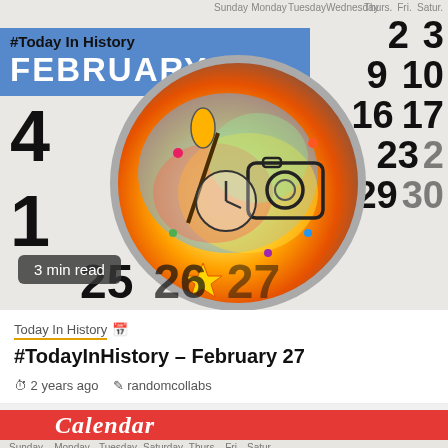[Figure (illustration): Blog post card image showing a calendar background with large numbers, a magnifying glass containing colorful cartoon art (camera, brush, clock), and a blue banner reading '#Today In History / FEBRUARY 27'. A '3 min read' badge appears at the bottom left.]
Today In History 📅
#TodayInHistory – February 27
⏱ 2 years ago  ✎ randomcollabs
[Figure (photo): Partial second blog card showing a red calendar bar with 'Calendar' text, weekday labels, '#Today In History' and 'FEBRUARY 26' blue banner, and calendar numbers on the right.]